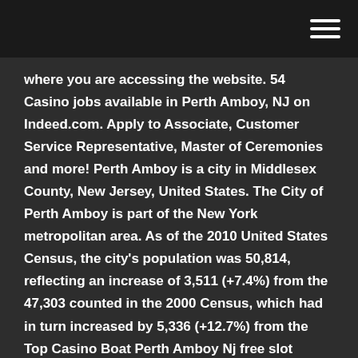where you are accessing the website. 54 Casino jobs available in Perth Amboy, NJ on Indeed.com. Apply to Associate, Customer Service Representative, Master of Ceremonies and more! Perth Amboy is a city in Middlesex County, New Jersey, United States. The City of Perth Amboy is part of the New York metropolitan area. As of the 2010 United States Census, the city's population was 50,814, reflecting an increase of 3,511 (+7.4%) from the 47,303 counted in the 2000 Census, which had in turn increased by 5,336 (+12.7%) from the Top Casino Boat Perth Amboy Nj free slot machine games with bonus rounds and free spins bonus in instant play! The most popular new Casino Boat Perth Amboy Nj online slots: penny and 3d slots from IGT, Aristocrat, Microgaming, NetEnt, Betsoft and 15 more. How